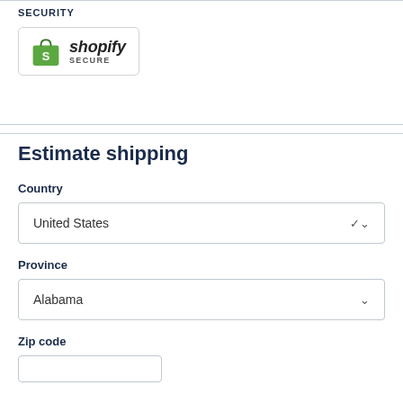SECURITY
[Figure (logo): Shopify Secure badge: green shopping bag icon next to 'shopify SECURE' text, inside a rounded rectangle border]
Estimate shipping
Country
United States
Province
Alabama
Zip code